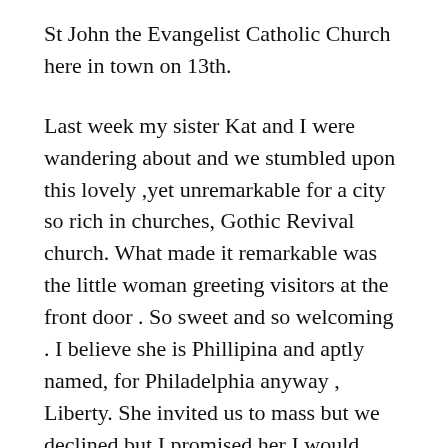St John the Evangelist Catholic Church here in town on 13th.
Last week my sister Kat and I were wandering about and we stumbled upon this lovely ,yet unremarkable for a city so rich in churches, Gothic Revival church. What made it remarkable was the little woman greeting visitors at the front door . So sweet and so welcoming . I believe she is Phillipina and aptly named, for Philadelphia anyway , Liberty. She invited us to mass but we declined but I promised her I would attend soon.
I made good on my promise and the church was as joyous as Liberty. The placard on the front